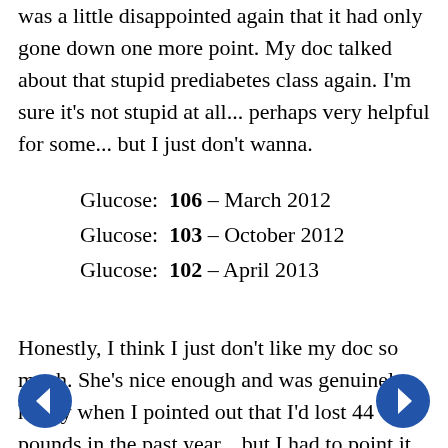was a little disappointed again that it had only gone down one more point. My doc talked about that stupid prediabetes class again. I'm sure it's not stupid at all... perhaps very helpful for some... but I just don't wanna.
Glucose: 106 – March 2012
Glucose: 103 – October 2012
Glucose: 102 – April 2013
Honestly, I think I just don't like my doc so much. She's nice enough and was genuinely happy when I pointed out that I'd lost 44 pounds in the past year... but I had to point it out. Bleh. I realize that this is only the second time we've met and she was ready to give birth the first time but, ya know, maybe take a peek at the chart as you walk through the door, just a quick check of the vitals. Then I